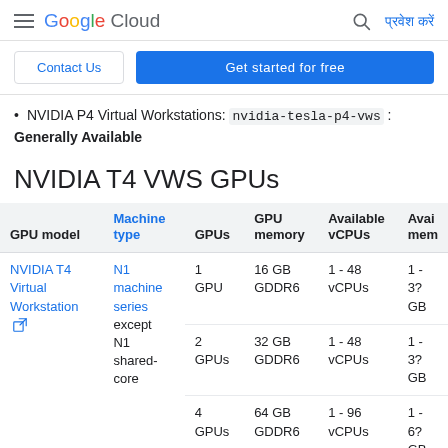Google Cloud — प्रवेश करें
Contact Us | Get started for free
NVIDIA P4 Virtual Workstations: nvidia-tesla-p4-vws : Generally Available
NVIDIA T4 VWS GPUs
| GPU model | Machine type | GPUs | GPU memory | Available vCPUs | Available memory |
| --- | --- | --- | --- | --- | --- |
| NVIDIA T4 Virtual Workstation | N1 machine series except N1 shared-core | 1 GPU | 16 GB GDDR6 | 1 - 48 vCPUs | 1 - 3? GB |
|  |  | 2 GPUs | 32 GB GDDR6 | 1 - 48 vCPUs | 1 - 3? GB |
|  |  | 4 GPUs | 64 GB GDDR6 | 1 - 96 vCPUs | 1 - 6? GB |